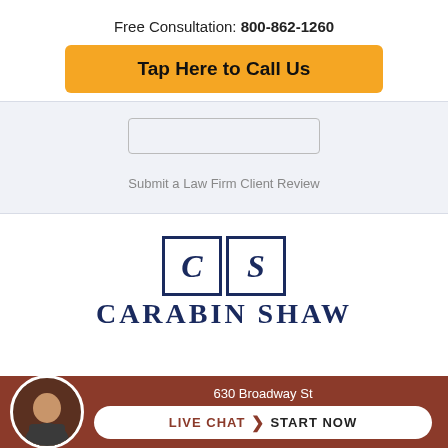Free Consultation: 800-862-1260
Tap Here to Call Us
Submit a Law Firm Client Review
[Figure (logo): Carabin Shaw law firm logo with C and S in bordered boxes above the firm name in navy blue serif lettering]
630 Broadway St
LIVE CHAT  START NOW